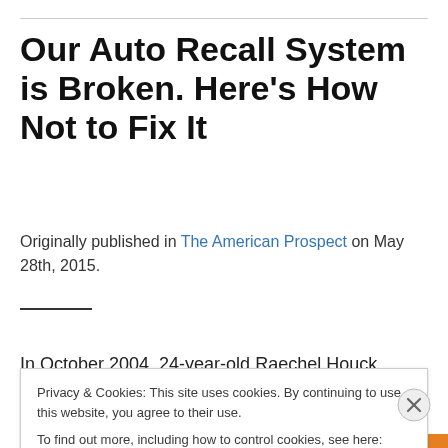Our Auto Recall System is Broken. Here’s How Not to Fix It
Originally published in The American Prospect on May 28th, 2015.
In October 2004, 24-year-old Raechel Houck rented a
Privacy & Cookies: This site uses cookies. By continuing to use this website, you agree to their use.
To find out more, including how to control cookies, see here: Cookie Policy
Close and accept